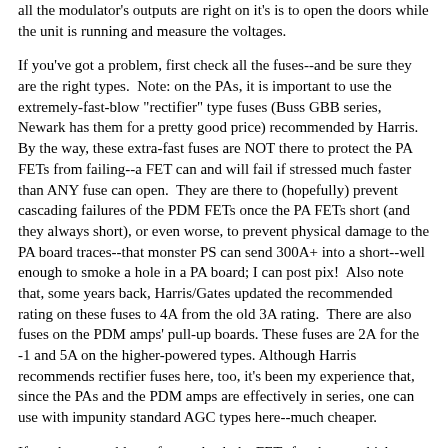all the modulator's outputs are right on it's is to open the doors while the unit is running and measure the voltages.
If you've got a problem, first check all the fuses--and be sure they are the right types.  Note: on the PAs, it is important to use the extremely-fast-blow "rectifier" type fuses (Buss GBB series, Newark has them for a pretty good price) recommended by Harris.  By the way, these extra-fast fuses are NOT there to protect the PA FETs from failing--a FET can and will fail if stressed much faster than ANY fuse can open.  They are there to (hopefully) prevent cascading failures of the PDM FETs once the PA FETs short (and they always short), or even worse, to prevent physical damage to the PA board traces--that monster PS can send 300A+ into a short--well enough to smoke a hole in a PA board; I can post pix!  Also note that, some years back, Harris/Gates updated the recommended rating on these fuses to 4A from the old 3A rating.  There are also fuses on the PDM amps' pull-up boards. These fuses are 2A for the -1 and 5A on the higher-powered types. Although Harris recommends rectifier fuses here, too, it's been my experience that, since the PAs and the PDM amps are effectively in series, one can use with impunity standard AGC types here--much cheaper.
If you have any blown fuses, check the FETs for shorts, which can be done with the PA and PDMs mounted--the procedures are in the TX book.
Replace any that are dead, obviously.  On an unfamiliar box or one